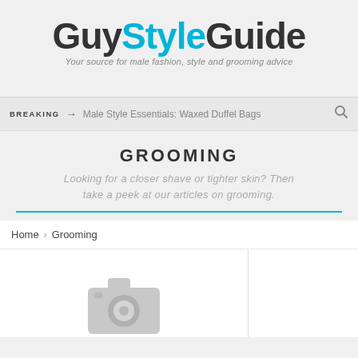GuyStyleGuide — Your source for male fashion, style and grooming advice
BREAKING → Male Style Essentials: Waxed Duffel Bags
GROOMING
Looking for a closer shave or tighter skin? Then take a peek at our articles on grooming.
Home > Grooming
[Figure (illustration): Gray camera placeholder icon at bottom of main content column]